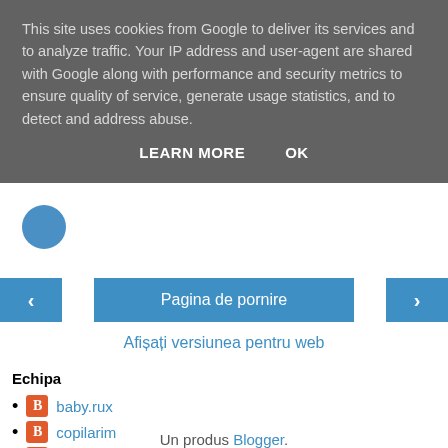This site uses cookies from Google to deliver its services and to analyze traffic. Your IP address and user-agent are shared with Google along with performance and security metrics to ensure quality of service, generate usage statistics, and to detect and address abuse.
LEARN MORE   OK
[Figure (other): Blue circle avatar/logo partially visible]
[Figure (other): Navigation row with left arrow button, Pagina de pornire center button, and right arrow button]
Afișați versiunea pentru web
Echipa
baby.rux
copilarim
rha
Un produs Blogger.